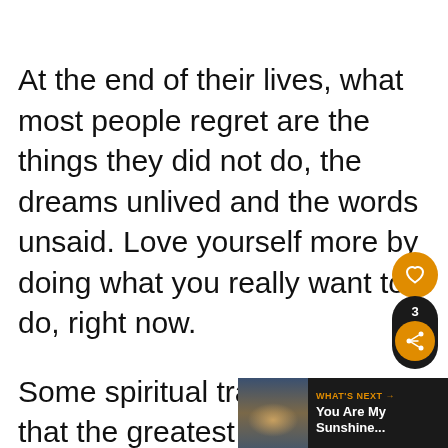At the end of their lives, what most people regret are the things they did not do, the dreams unlived and the words unsaid. Love yourself more by doing what you really want to do, right now.
Some spiritual traditions say that the greatest gift we can give to the world is our love. When we love ourselves, we increase the amount of love that exists
[Figure (screenshot): UI overlay with heart/like button (orange circle with heart icon), share button with count 3, and a 'WHAT'S NEXT' card showing 'You Are My Sunshine...' with a cityscape thumbnail]